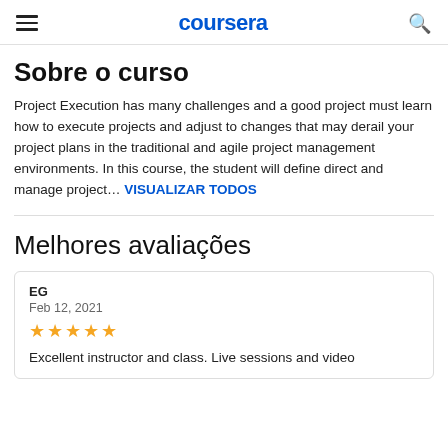coursera
Sobre o curso
Project Execution has many challenges and a good project must learn how to execute projects and adjust to changes that may derail your project plans in the traditional and agile project management environments. In this course, the student will define direct and manage project... VISUALIZAR TODOS
Melhores avaliações
EG
Feb 12, 2021
★★★★★
Excellent instructor and class. Live sessions and video